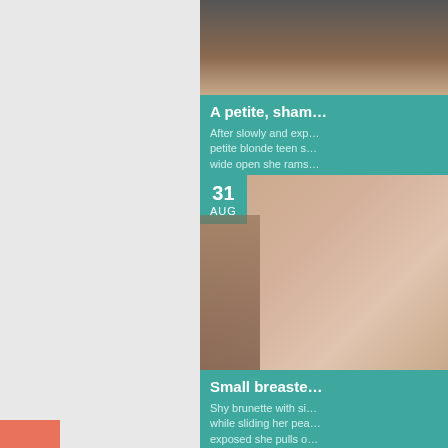PORN SITE REVIEWS
[Figure (photo): Top card photo: dark background with partial image, article about a petite blonde teen]
A petite, sham...
After slowly and exp... petite blonde teen s... wide open she rams...
Aleksa Nubiles
[Figure (photo): Second card photo dated 31 AUG: brunette woman close-up]
Small breaste...
Shy brunette with si... while sliding her pea... exposed she pulls o...
Serena Torres